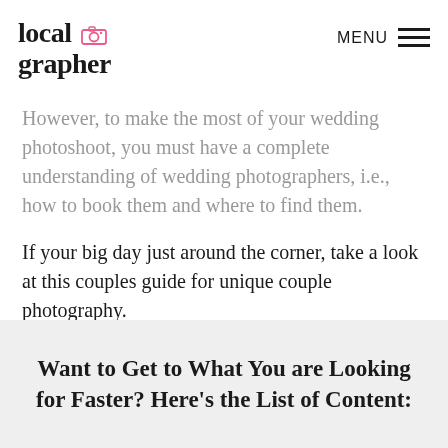Localgrapher | MENU
However, to make the most of your wedding photoshoot, you must have a complete understanding of wedding photographers, i.e., how to book them and where to find them.

If your big day just around the corner, take a look at this couples guide for unique couple photography.
Find Your Perfect Photographer
Want to Get to What You are Looking for Faster? Here's the List of Content: